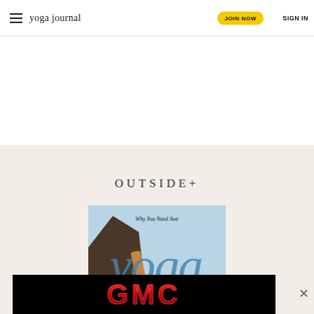yoga journal — JOIN NOW  SIGN IN
[Figure (screenshot): Yoga Journal magazine cover showing 'Why You Need Awe' headline with large 'yoga' text in blue and 'JOURNAL' below, with rocky background and arm raised]
OUTSIDE+
[Figure (logo): GMC logo advertisement banner with red GMC letters on black background with close button]